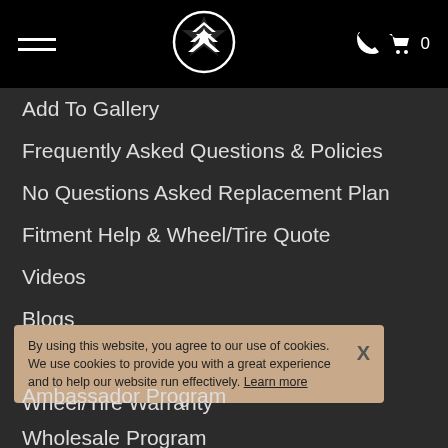Navigation header with hamburger menu, logo, phone icon and cart (0)
Add To Gallery
Frequently Asked Questions & Policies
No Questions Asked Replacement Plan
Fitment Help & Wheel/Tire Quote
Videos
Blogs
Financing
Wheel/Tire Warranty
By using this website, you agree to our use of cookies. We use cookies to provide you with a great experience and to help our website run effectively. Learn more  X
Ambassador Program
Wholesale Program
The Gallery Showcase